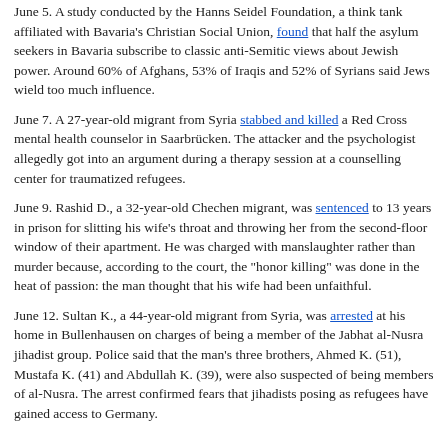June 5. A study conducted by the Hanns Seidel Foundation, a think tank affiliated with Bavaria's Christian Social Union, found that half the asylum seekers in Bavaria subscribe to classic anti-Semitic views about Jewish power. Around 60% of Afghans, 53% of Iraqis and 52% of Syrians said Jews wield too much influence.
June 7. A 27-year-old migrant from Syria stabbed and killed a Red Cross mental health counselor in Saarbrücken. The attacker and the psychologist allegedly got into an argument during a therapy session at a counselling center for traumatized refugees.
June 9. Rashid D., a 32-year-old Chechen migrant, was sentenced to 13 years in prison for slitting his wife's throat and throwing her from the second-floor window of their apartment. He was charged with manslaughter rather than murder because, according to the court, the "honor killing" was done in the heat of passion: the man thought that his wife had been unfaithful.
June 12. Sultan K., a 44-year-old migrant from Syria, was arrested at his home in Bullenhausen on charges of being a member of the Jabhat al-Nusra jihadist group. Police said that the man's three brothers, Ahmed K. (51), Mustafa K. (41) and Abdullah K. (39), were also suspected of being members of al-Nusra. The arrest confirmed fears that jihadists posing as refugees have gained access to Germany.